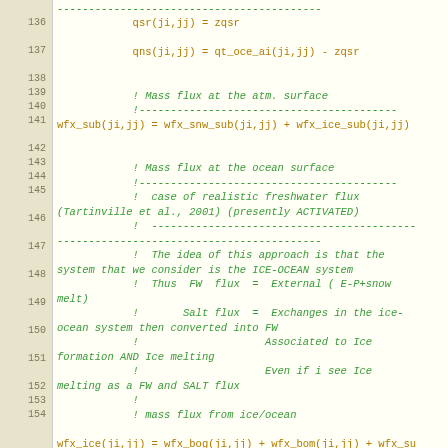[Figure (screenshot): Source code listing showing Fortran-style ocean/ice model code, lines 136-155, with line numbers in beige left column and code in cream right area. Comments in green italic, code in orange/amber monospace font.]